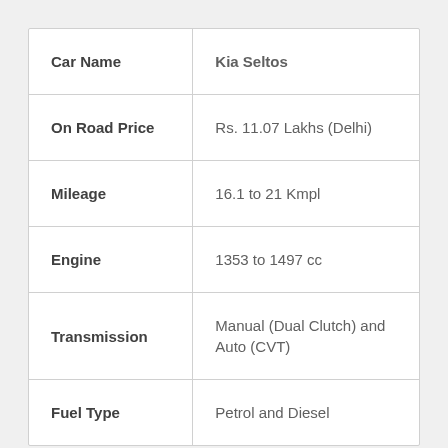| Car Name | Kia Seltos |
| On Road Price | Rs. 11.07 Lakhs (Delhi) |
| Mileage | 16.1 to 21 Kmpl |
| Engine | 1353 to 1497 cc |
| Transmission | Manual (Dual Clutch) and Auto (CVT) |
| Fuel Type | Petrol and Diesel |